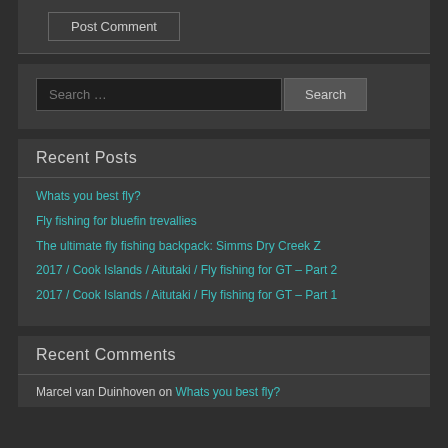Post Comment
Recent Posts
Whats you best fly?
Fly fishing for bluefin trevallies
The ultimate fly fishing backpack: Simms Dry Creek Z
2017 / Cook Islands / Aitutaki / Fly fishing for GT – Part 2
2017 / Cook Islands / Aitutaki / Fly fishing for GT – Part 1
Recent Comments
Marcel van Duinhoven on Whats you best fly?